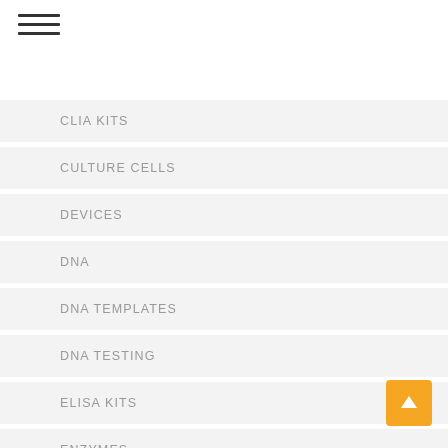[Figure (other): Hamburger menu icon with three horizontal lines]
CLIA KITS
CULTURE CELLS
DEVICES
DNA
DNA TEMPLATES
DNA TESTING
ELISA KITS
ENZYMES
EQUIPMENTS
EXOSOMES
[Figure (other): Back to top button with upward arrow, orange/yellow background]